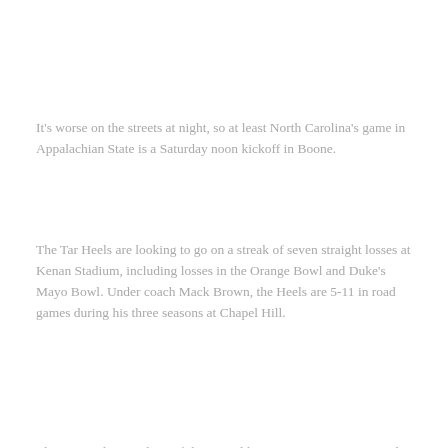It's worse on the streets at night, so at least North Carolina's game in Appalachian State is a Saturday noon kickoff in Boone.
The Tar Heels are looking to go on a streak of seven straight losses at Kenan Stadium, including losses in the Orange Bowl and Duke's Mayo Bowl. Under coach Mack Brown, the Heels are 5-11 in road games during his three seasons at Chapel Hill.
They were close as three of those road losses came in overtime and two in games decided by three points.
"Everyone says, 'Why can't you win on the street?' " said Brown. "Well, usually programs that are growing but not great yet can't win along the way. It's just harder."
The Mountaineers have plenty of return experience and the difference